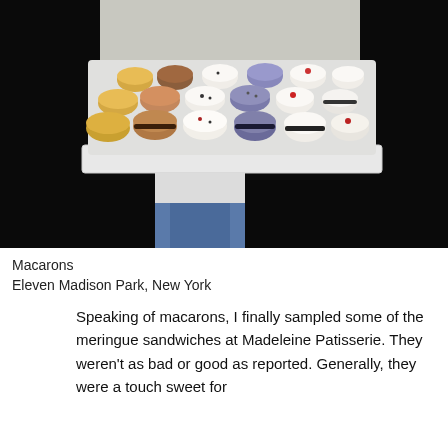[Figure (photo): A white rectangular tray/pedestal holding an assortment of colorful French macarons in various flavors — yellow, brown/chocolate, white with dots, lavender/purple, and white — arranged in rows. A person in a white shirt holds the tray, photographed against a dark background.]
Macarons
Eleven Madison Park, New York
Speaking of macarons, I finally sampled some of the meringue sandwiches at Madeleine Patisserie. They weren't as bad or good as reported. Generally, they were a touch sweet for